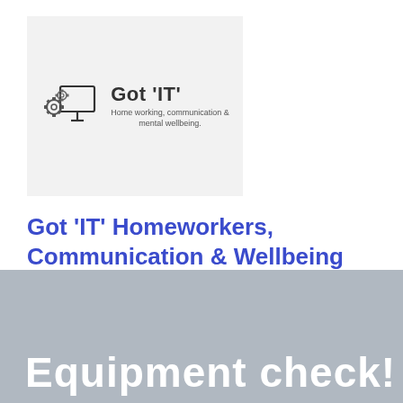[Figure (logo): Got 'IT' logo with computer monitor icon and gears, subtitle: Home working, communication & mental wellbeing.]
Got 'IT' Homeworkers, Communication & Wellbeing
MENU
Equipment check!